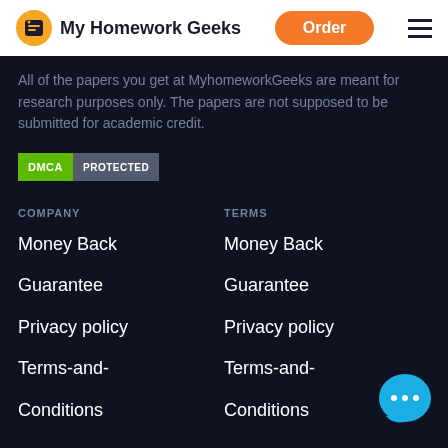My Homework Geeks | Order
All of the papers you get at MyhomeworkGeeks are meant for research purposes only. The papers are not supposed to be submitted for academic credit.
[Figure (logo): DMCA PROTECTED badge]
COMPANY
TERMS
Money Back
Money Back
Guarantee
Guarantee
Privacy policy
Privacy policy
Terms-and-
Terms-and-
Conditions
Conditions